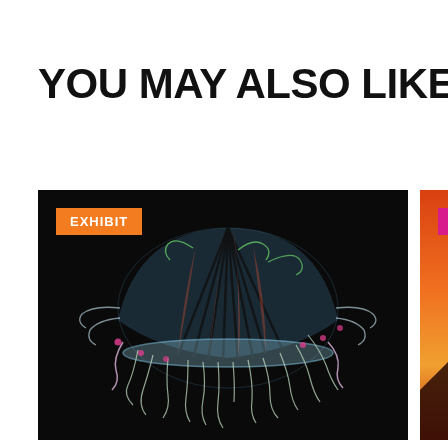YOU MAY ALSO LIKE
[Figure (photo): Close-up photograph of a colorful jellyfish against a black background, with an orange EXHIBIT badge in the top-left corner]
LIFE: A JOURNEY THROUGH TIME
LIFE: A Journey Through Time is a
[Figure (photo): Partially visible photograph showing a warm orange/red sunset or volcanic landscape, with a pink/magenta PHOTOGRA[PHY] badge in the top-left corner]
FRANS LA[NTING]
Frans Lanti[ng]